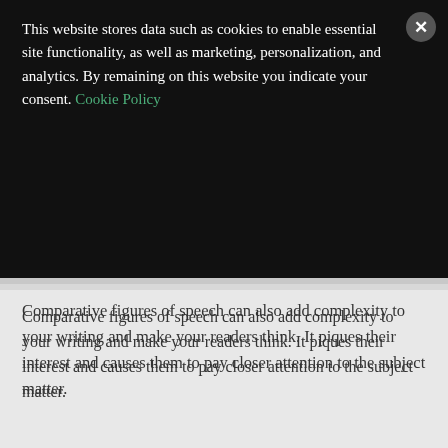This website stores data such as cookies to enable essential site functionality, as well as marketing, personalization, and analytics. By remaining on this website you indicate your consent. Cookie Policy
Comparative figures of speech can also add complexity to your writing and make your readers think. It piques their interest and causes them to pay closer attention to the subject matter.
There [simile...]
Simi[le]
A simi[le compares two th...]
Join our email list to learn how BookBaby can help you publish!